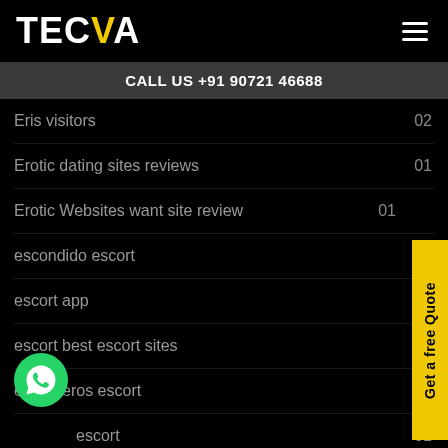TECVA
CALL US +91 90721 46688
Eris visitors  02
Erotic dating sites reviews  01
Erotic Websites want site review  01
escondido escort
escort app
escort best escort sites
escort eros escort
e[whatsapp]s escort  01
escort escort ads  01
escort escort directory  01